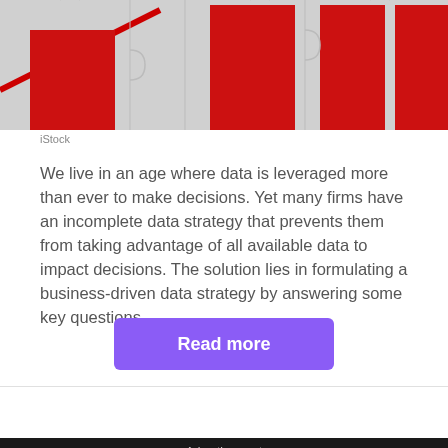[Figure (photo): Partial view of a bar chart overlaid on a jigsaw puzzle background with red and grey puzzle pieces]
iStock
We live in an age where data is leveraged more than ever to make decisions. Yet many firms have an incomplete data strategy that prevents them from taking advantage of all available data to impact decisions. The solution lies in formulating a business-driven data strategy by answering some key questions.
Read more
DATA STRATEGY QUESTIONS ›
Advertisement